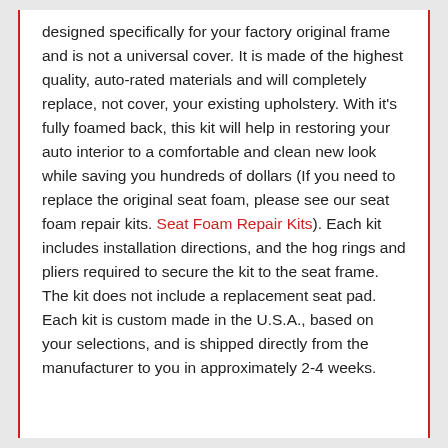designed specifically for your factory original frame and is not a universal cover. It is made of the highest quality, auto-rated materials and will completely replace, not cover, your existing upholstery. With it's fully foamed back, this kit will help in restoring your auto interior to a comfortable and clean new look while saving you hundreds of dollars (If you need to replace the original seat foam, please see our seat foam repair kits. Seat Foam Repair Kits). Each kit includes installation directions, and the hog rings and pliers required to secure the kit to the seat frame. The kit does not include a replacement seat pad. Each kit is custom made in the U.S.A., based on your selections, and is shipped directly from the manufacturer to you in approximately 2-4 weeks.